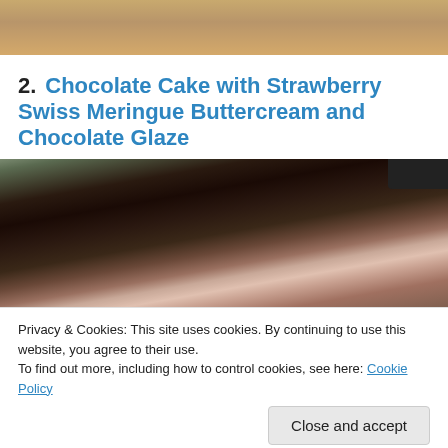[Figure (photo): Top portion of a wooden table surface, cropped photo]
2. Chocolate Cake with Strawberry Swiss Meringue Buttercream and Chocolate Glaze
[Figure (photo): Close-up photo of a chocolate cake with dark chocolate glaze on top and pink/white buttercream filling visible on the side]
Privacy & Cookies: This site uses cookies. By continuing to use this website, you agree to their use.
To find out more, including how to control cookies, see here: Cookie Policy
Close and accept
[Figure (photo): Bottom portion of another food photograph, partially visible]